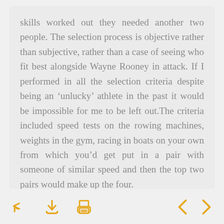skills worked out they needed another two people. The selection process is objective rather than subjective, rather than a case of seeing who fit best alongside Wayne Rooney in attack. If I performed in all the selection criteria despite being an 'unlucky' athlete in the past it would be impossible for me to be left out.The criteria included speed tests on the rowing machines, weights in the gym, racing in boats on your own from which you'd get put in a pair with someone of similar speed and then the top two pairs would make up the four.

Our four that raced at the 2000 Sydney
navigation icons: back, download, print, previous, next